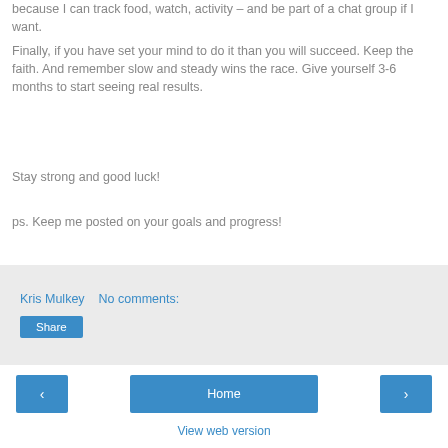because I can track food, watch, activity – and be part of a chat group if I want.
Finally, if you have set your mind to do it than you will succeed. Keep the faith. And remember slow and steady wins the race. Give yourself 3-6 months to start seeing real results.
Stay strong and good luck!
ps. Keep me posted on your goals and progress!
Kris Mulkey    No comments:
Share
Home
View web version